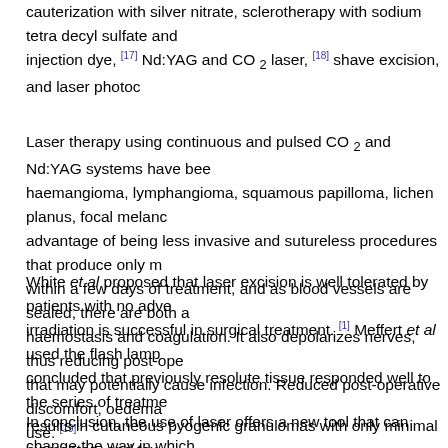cauterization with silver nitrate, sclerotherapy with sodium tetra decyl sulfate and injection dye, [17] Nd:YAG and CO 2 laser, [18] shave excision, and laser photoc...
Laser therapy using continuous and pulsed CO 2 and Nd:YAG systems have been used for haemangioma, lymphangioma, squamous papilloma, lichen planus, focal melanc... advantage of being less invasive and sutureless procedures that produce only m... within a few days of treatment, and as blood vessels are sealed, there are both a... haemostasis and coagulation. It also depolarizes nerves, thus reducing post-ope... that may potentially cause infection. Reduced post-operative discomfort, oedema... use. [19]
White et al proposed that laser excision is well tolerated by patients with no adve... irradiation is successful in surgical treatment. [1] Meffert et al used the flash lamp... concluded that previously resolute tissue responded well to the series of treatme... results in cutaneous pyogenic granulomas with only minimal pigmentary and tex... symptomatic and clinical clearing of the lesions with excellent cosmetic results in... convincing proof of its efficacy in intraoral pyogenic granuloma. We achieved com... with diode laser without producing any complications. There was no scarring or m... option for intraoral pyogenic granulomas.
In conclusion, the use of laser offers a new tool that can change the way in which... them. Modern medicine needs to explore and take advantage of current trends t...